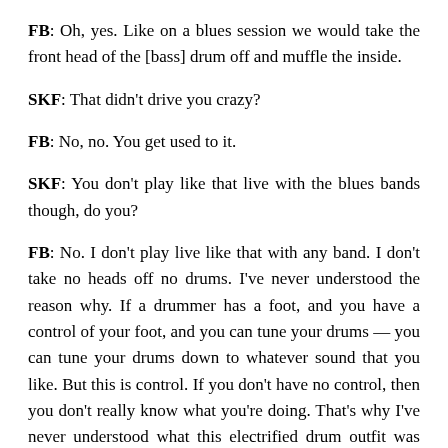FB: Oh, yes. Like on a blues session we would take the front head of the [bass] drum off and muffle the inside.
SKF: That didn't drive you crazy?
FB: No, no. You get used to it.
SKF: You don't play like that live with the blues bands though, do you?
FB: No. I don't play live like that with any band. I don't take no heads off no drums. I've never understood the reason why. If a drummer has a foot, and you have a control of your foot, and you can tune your drums — you can tune your drums down to whatever sound that you like. But this is control. If you don't have no control, then you don't really know what you're doing. That's why I've never understood what this electrified drum outfit was about. It's